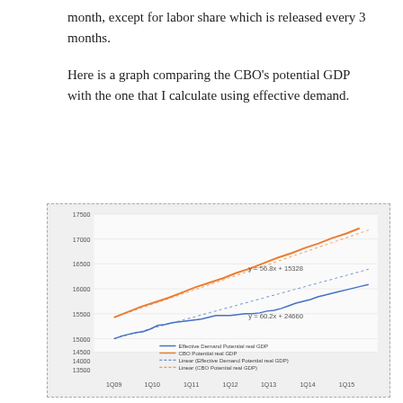month, except for labor share which is released every 3 months.
Here is a graph comparing the CBO's potential GDP with the one that I calculate using effective demand.
[Figure (line-chart): Line chart comparing CBO Potential real GDP (orange line, trending upward with equation y=56.8x+15328) and Effective Demand Potential real GDP (blue line, trending upward with equation y=60.2x+24660), from 1Q09 to 1Q15. Y-axis ranges from 13500 to 17500.]